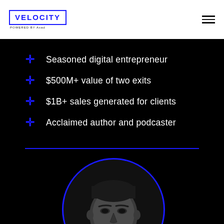VELOCITY POWERED BY Axad
Seasoned digital entrepreneur
$500M+ value of two exits
$1B+ sales generated for clients
Acclaimed author and podcaster
[Figure (photo): Black and white portrait photo of a man, displayed in a circle with a blue border, on a black background]